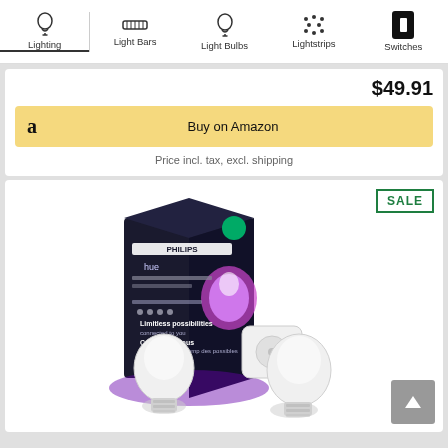Lighting | Light Bars | Light Bulbs | Lightstrips | Switches
$49.91
Buy on Amazon
Price incl. tax, excl. shipping
SALE
[Figure (photo): Philips Hue White and Color Ambiance A19 starter kit product photo showing box packaging and two light bulbs with a smart hub device]